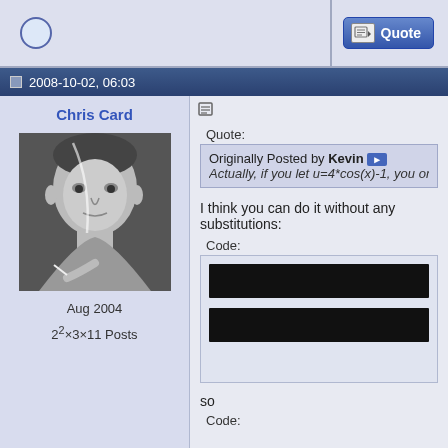[Figure (screenshot): Forum interface top bar with circular avatar placeholder on the left and a blue Quote button on the right]
2008-10-02, 06:03
Chris Card
[Figure (photo): Black and white photograph of an elderly man (Pablo Picasso) holding a cigarette]
Aug 2004
2^2×3×11 Posts
Quote:
Originally Posted by Kevin ▶ Actually, if you let u=4*cos(x)-1, you only need t
I think you can do it without any substitutions:
Code:
[Figure (screenshot): Code block with two black redacted/censored lines of code]
so
Code: